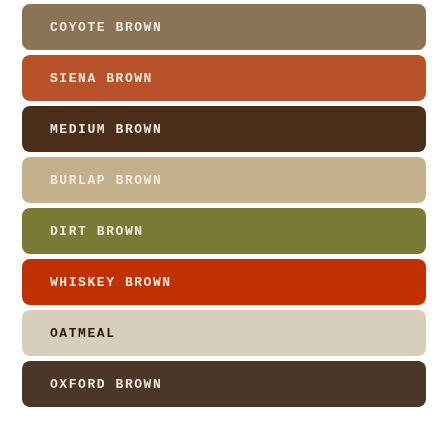[Figure (infographic): A vertical stack of 8 color swatches representing shades of brown, each as a rounded rectangle with the color name in bold monospace text. Colors: Coyote Brown, Siena Brown, Medium Brown, Burlap Brown, Dirt Brown, Whiskey Brown, Oatmeal, Oxford Brown.]